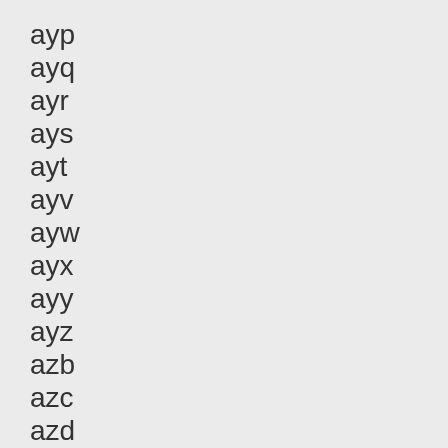ayp
ayq
ayr
ays
ayt
ayv
ayw
ayx
ayy
ayz
azb
azc
azd
azf